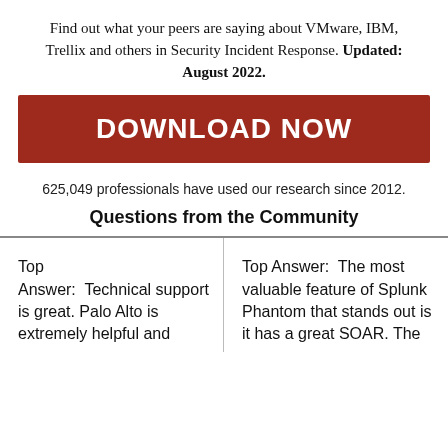Find out what your peers are saying about VMware, IBM, Trellix and others in Security Incident Response. Updated: August 2022.
[Figure (other): Red 'DOWNLOAD NOW' button]
625,049 professionals have used our research since 2012.
Questions from the Community
Top Answer:  Technical support is great. Palo Alto is extremely helpful and
Top Answer:  The most valuable feature of Splunk Phantom that stands out is it has a great SOAR. The